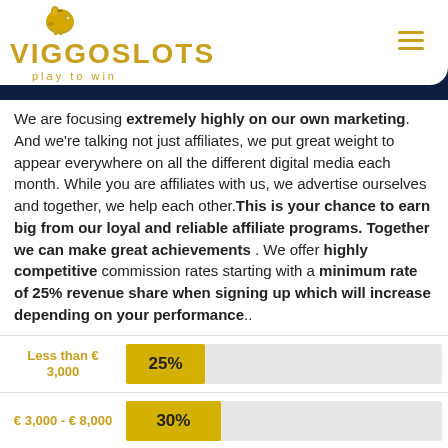[Figure (logo): ViggoSlots logo with golden piggy bank icon, text VIGGOSLOTS and tagline 'play to win' on white background, set in dark navy header bar with hamburger menu button]
We are focusing extremely highly on our own marketing. And we're talking not just affiliates, we put great weight to appear everywhere on all the different digital media each month. While you are affiliates with us, we advertise ourselves and together, we help each other.This is your chance to earn big from our loyal and reliable affiliate programs. Together we can make great achievements . We offer highly competitive commission rates starting with a minimum rate of 25% revenue share when signing up which will increase depending on your performance..
[Figure (bar-chart): Commission rates by revenue]